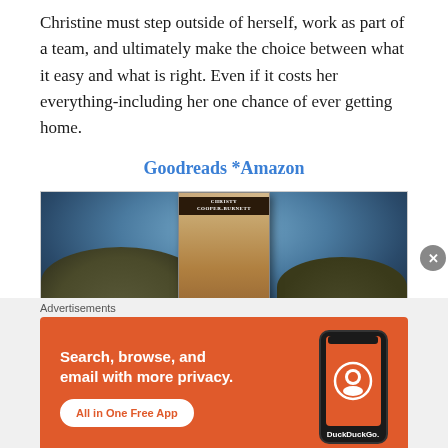Christine must step outside of herself, work as part of a team, and ultimately make the choice between what it easy and what is right. Even if it costs her everything-including her one chance of ever getting home.
Goodreads * Amazon
[Figure (photo): Book cover of a novel by Christy Cooper-Burnett showing a man in a cowboy hat and a woman facing each other against a dramatic landscape background with hills and cloudy sky]
Advertisements
[Figure (screenshot): DuckDuckGo advertisement banner with orange background showing text 'Search, browse, and email with more privacy. All in One Free App' with a phone mockup showing DuckDuckGo logo]